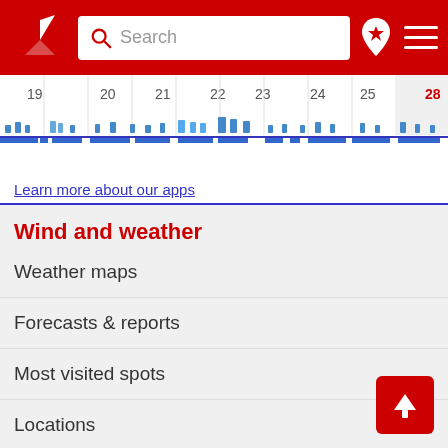[Figure (screenshot): Red navigation header with Windfinder logo, search bar, favorites icon, and hamburger menu]
[Figure (continuous-plot): Calendar date strip showing dates 19-28 with wind/weather chart below showing blue bars and purple line for wind data]
Learn more about our apps
Wind and weather
Weather maps
Forecasts & reports
Most visited spots
Locations
Services
Help & FAQs
Windfinder apps
Historical weather data